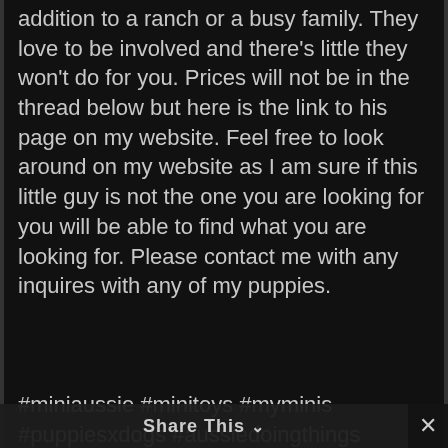addition to a ranch or a busy family. They love to be involved and there's little they won't do for you. Prices will not be in the thread below but here is the link to his page on my website. Feel free to look around on my website as I am sure if this little guy is not the one you are looking for you will be able to find what you are looking for. Please contact me with any inquires with any of my puppies.
#miniaussie #minitoys #myminis #puppiesxdogs #aussiedoingthings #miniusa #minione #miniaustralianshepherd #aussiephotos #aussiepuppy #sofaminimalis #aussielife #miniature #puppies
Share This ∨